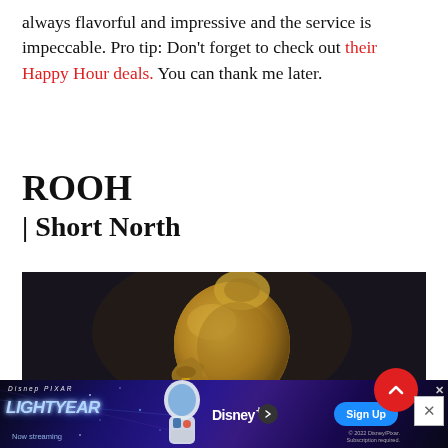always flavorful and impressive and the service is impeccable. Pro tip: Don’t forget to check out their Happy Hour deals. You can thank me later.
ROOH | Short North
[Figure (photo): Close-up photo of a golden ceramic pouring vessel drizzling yellow liquid (oil or sauce) onto a plate, set against a dark background.]
[Figure (screenshot): Disney Pixar Lightyear advertisement banner. Shows Disney Pixar logo, Lightyear movie title, Now streaming text, Buzz Lightyear character, Disney+ logo, and Sign Up button.]